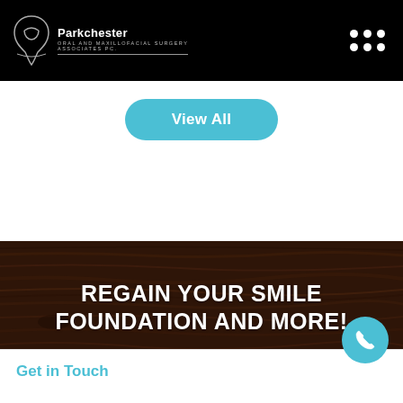Parkchester Oral and Maxillofacial Surgery Associates PC
View All
REGAIN YOUR SMILE FOUNDATION AND MORE!
Get in Touch